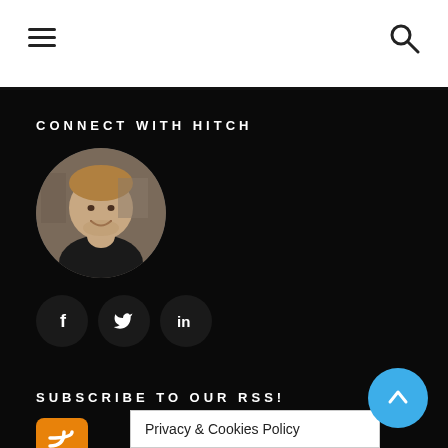Navigation header with hamburger menu and search icon
CONNECT WITH HITCH
[Figure (photo): Circular profile photo of a man with short hair and beard, smiling, wearing a dark t-shirt]
[Figure (infographic): Three circular dark social media buttons: Facebook (f), Twitter (bird), LinkedIn (in)]
SUBSCRIBE TO OUR RSS!
[Figure (logo): Orange RSS feed icon with white wifi-style signal waves]
Privacy & Cookies Policy